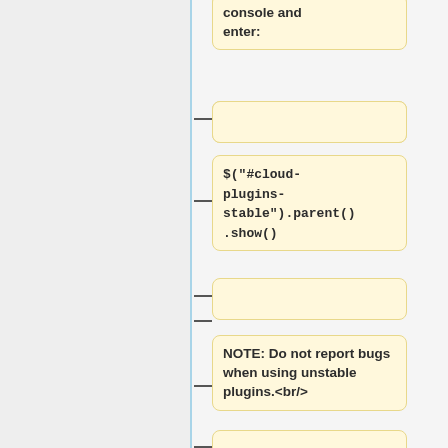console and enter:
$("#cloud-plugins-stable").parent().show()
NOTE: Do not report bugs when using unstable plugins.<br/>
They have not been curated or tested, so they might corrupt memory or even crash.<br/>